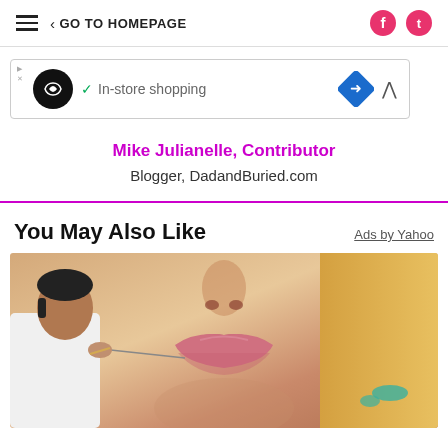GO TO HOMEPAGE
[Figure (screenshot): Advertisement banner with infinity loop icon and 'In-store shopping' text with blue diamond navigation icon]
Mike Julianelle, Contributor
Blogger, DadandBuried.com
You May Also Like
Ads by Yahoo
[Figure (photo): Close-up photo of a woman's face and lips with a man in white coat appearing to perform a cosmetic procedure near her lips]